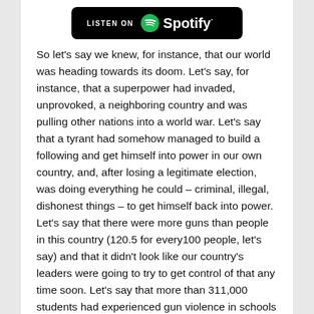[Figure (logo): Listen on Spotify button — black rounded rectangle with Spotify logo and wordmark in white]
So let's say we knew, for instance, that our world was heading towards its doom. Let's say, for instance, that a superpower had invaded, unprovoked, a neighboring country and was pulling other nations into a world war. Let's say that a tyrant had somehow managed to build a following and get himself into power in our own country, and, after losing a legitimate election, was doing everything he could – criminal, illegal, dishonest things – to get himself back into power. Let's say that there were more guns than people in this country (120.5 for every100 people, let's say) and that it didn't look like our country's leaders were going to try to get control of that any time soon. Let's say that more than 311,000 students had experienced gun violence in schools since Columbine. Let's say that plastics, fossil fuel consumption, overuse, misuse, and abuse was destroying our oceans, land and air. Let's say that even the basic right to have control over our own bodies was being threatened. Let's say there was talk of Civil War. Let's say things looked like complete